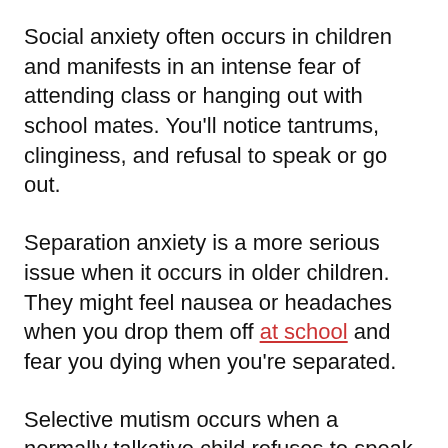Social anxiety often occurs in children and manifests in an intense fear of attending class or hanging out with school mates. You'll notice tantrums, clinginess, and refusal to speak or go out.
Separation anxiety is a more serious issue when it occurs in older children. They might feel nausea or headaches when you drop them off at school and fear you dying when you're separated.
Selective mutism occurs when a normally talkative child refuses to speak in certain social situations. Avoiding eye contact and refusing to speak in class are typical of this condition.
Finally, general anxiety disorder is diagnosed in children that worry excessively about grades, school activities,